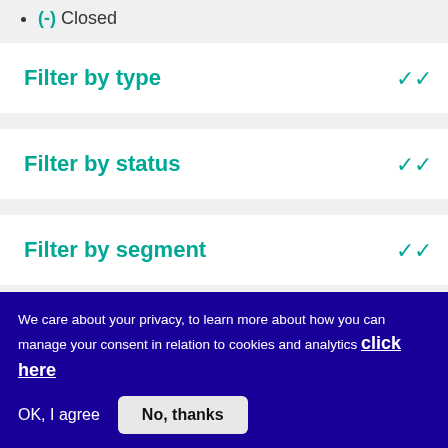(-) Closed
Filter by type
Filter by status
Filter by segment
We care about your privacy, to learn more about how you can manage your consent in relation to cookies and analytics click here
OK, I agree
No, thanks